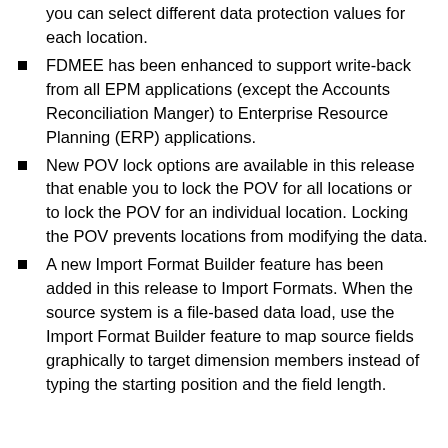you can select different data protection values for each location.
FDMEE has been enhanced to support write-back from all EPM applications (except the Accounts Reconciliation Manger) to Enterprise Resource Planning (ERP) applications.
New POV lock options are available in this release that enable you to lock the POV for all locations or to lock the POV for an individual location. Locking the POV prevents locations from modifying the data.
A new Import Format Builder feature has been added in this release to Import Formats. When the source system is a file-based data load, use the Import Format Builder feature to map source fields graphically to target dimension members instead of typing the starting position and the field length.